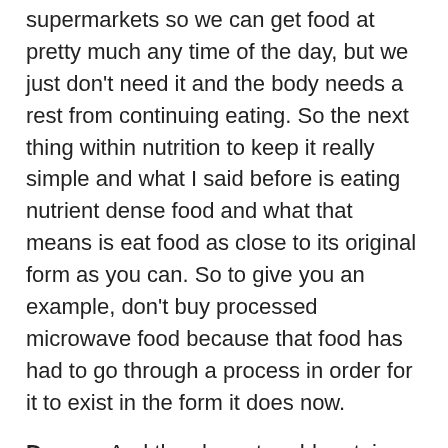supermarkets so we can get food at pretty much any time of the day, but we just don't need it and the body needs a rest from continuing eating. So the next thing within nutrition to keep it really simple and what I said before is eating nutrient dense food and what that means is eat food as close to its original form as you can. So to give you an example, don't buy processed microwave food because that food has had to go through a process in order for it to exist in the form it does now.
Darren: And they have to add certain additives and e numbers and stuff that really we shouldn't be consuming if we want to consider our health. And so instead of that, make food from scratch and there'll be a lot of moaning and groaning. Listen to the podcast all the time. It's really no different, in all honesty, to stick in a microwave meal in either the oven or a microwave. You can cook nutrient dense food in 15 to 20 minutes. A good, really nice, good meal. It will taste better. It will be better for you. And it would